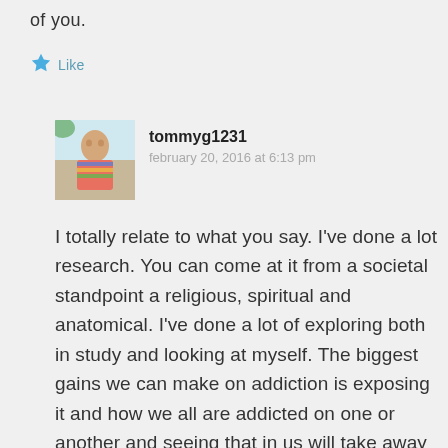of you.
[Figure (illustration): Teal/blue star icon used as a Like button]
Like
[Figure (photo): Profile photo of user tommyg1231, showing a person outdoors]
tommyg1231
february 20, 2016 at 6:13 pm
I totally relate to what you say. I've done a lot research. You can come at it from a societal standpoint a religious, spiritual and anatomical. I've done a lot of exploring both in study and looking at myself. The biggest gains we can make on addiction is exposing it and how we all are addicted on one or another and seeing that in us will take away the stigma in others.